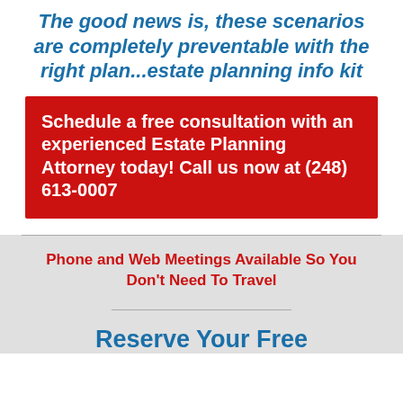The good news is, these scenarios are completely preventable with the right plan...estate planning info kit
Schedule a free consultation with an experienced Estate Planning Attorney today! Call us now at (248) 613-0007
Phone and Web Meetings Available So You Don't Need To Travel
Reserve Your Free